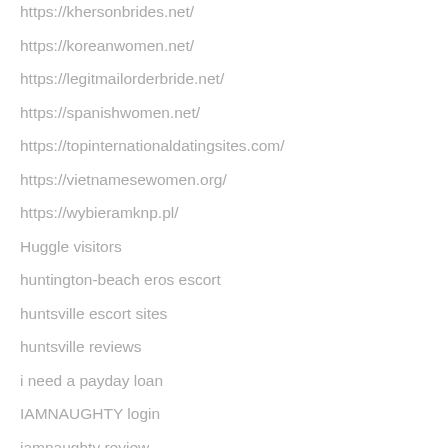https://khersonbrides.net/
https://koreanwomen.net/
https://legitmailorderbride.net/
https://spanishwomen.net/
https://topinternationaldatingsites.com/
https://vietnamesewomen.org/
https://wybieramknp.pl/
Huggle visitors
huntington-beach eros escort
huntsville escort sites
huntsville reviews
i need a payday loan
IAMNAUGHTY login
iamnaughty review
IAMNAUGHTY reviews